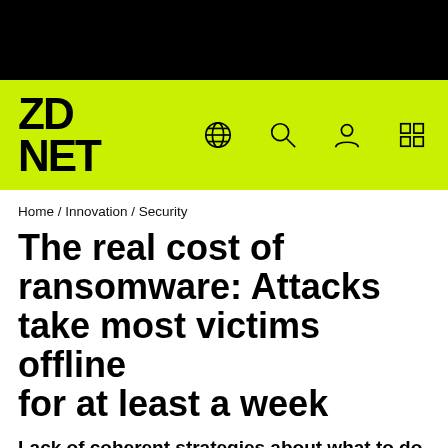[Figure (logo): ZDNet logo on yellow-green navigation bar with globe, search, user, and grid icons]
Home / Innovation / Security
The real cost of ransomware: Attacks take most victims offline for at least a week
Lack of coherent strategies about what to do